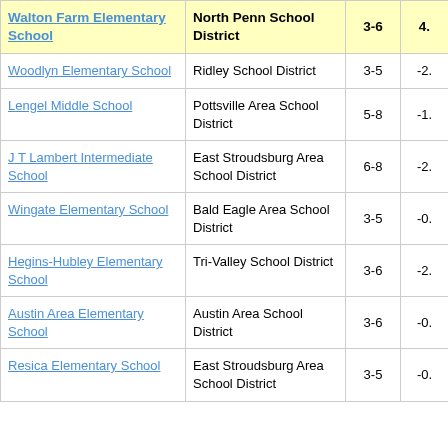| School | District | Grades | Value |
| --- | --- | --- | --- |
| Walton Farm Elementary School | North Penn School District | 3-6 | 4. |
| Woodlyn Elementary School | Ridley School District | 3-5 | -2. |
| Lengel Middle School | Pottsville Area School District | 5-8 | -1. |
| J T Lambert Intermediate School | East Stroudsburg Area School District | 6-8 | -2. |
| Wingate Elementary School | Bald Eagle Area School District | 3-5 | -0. |
| Hegins-Hubley Elementary School | Tri-Valley School District | 3-6 | -2. |
| Austin Area Elementary School | Austin Area School District | 3-6 | -0. |
| Resica Elementary School | East Stroudsburg Area School District | 3-5 | -0. |